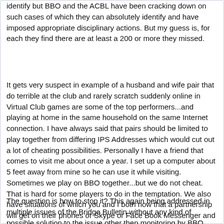identify but BBO and the ACBL have been cracking down on such cases of which they can absolutely identify and have imposed appropriate disciplinary actions. But my guess is, for each they find there are at least a 200 or more they missed.
It gets very suspect in example of a husband and wife pair that do terrible at the club and rarely scratch suddenly online in Virtual Club games are some of the top performers...and playing at home in the same household on the same Internet connection. I have always said that pairs should be limited to play together from differing IPS Addresses which would cut out a lot of cheating possibilities. Personally I have a friend that comes to visit me about once a year. I set up a computer about 5 feet away from mine so he can use it while visiting. Sometimes we play on BBO together...but we do not cheat. That is hard for some players to do in the temptation. We also have situations of which you and I both now that a partnership will get on their phones or Skype or Face Book Messenger and cheat the entire time and tell what they have in their hands, what to lead, what they have for support of a contract, etc.. I am not so dumb to think this does not happen with frequency.
The question is how to stop it? This again being addressed in multiple issues of the Bridge Bulletin without any kind of possible solution to the issue other then monitoring by BBO and the ACBL